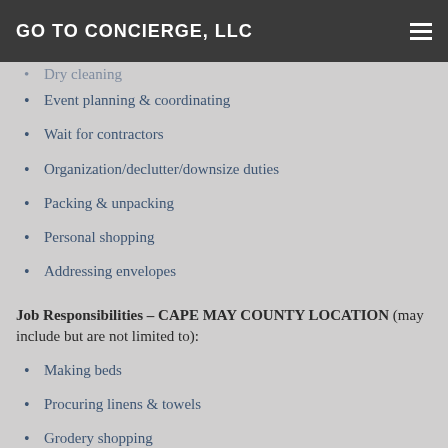GO TO CONCIERGE, LLC
Dry cleaning
Event planning & coordinating
Wait for contractors
Organization/declutter/downsize duties
Packing & unpacking
Personal shopping
Addressing envelopes
Job Responsibilities – CAPE MAY COUNTY LOCATION (may include but are not limited to):
Making beds
Procuring linens & towels
Grodery shopping
Arranging rental procurement
Running errands
Laundry